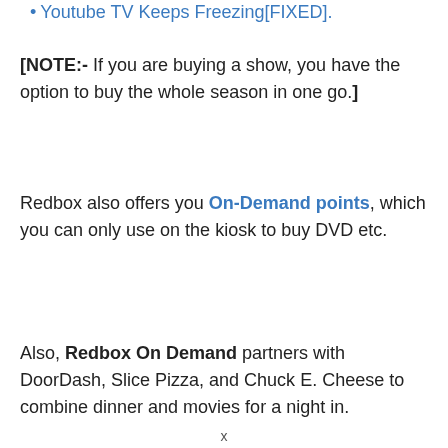Youtube TV Keeps Freezing[FIXED].
[NOTE:- If you are buying a show, you have the option to buy the whole season in one go.]
Redbox also offers you On-Demand points, which you can only use on the kiosk to buy DVD etc.
Also, Redbox On Demand partners with DoorDash, Slice Pizza, and Chuck E. Cheese to combine dinner and movies for a night in.